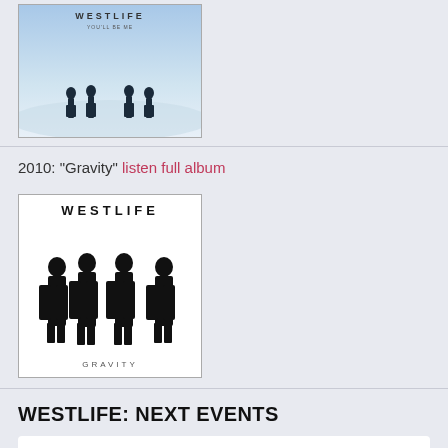[Figure (photo): Westlife album cover (partial, top) showing four men standing in a snowy/misty landscape with 'WESTLIFE' text at top]
2010: "Gravity" listen full album
[Figure (photo): Westlife Gravity album cover showing four men in black suits standing against white background with 'WESTLIFE' at top and 'GRAVITY' at bottom]
WESTLIFE: NEXT EVENTS
CONCERT
2022-09-24 h: 18:00
Sentul International Convention Center
Bogor, Indonesia